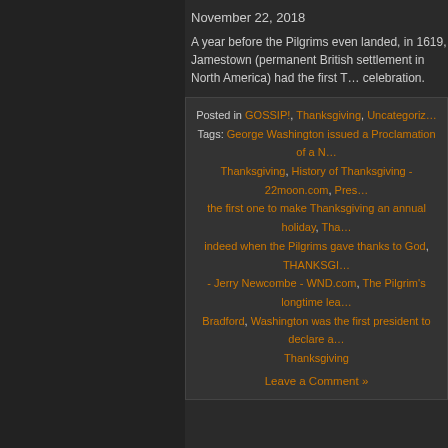November 22, 2018
A year before the Pilgrims even landed, in 1619, Jamestown (permanent British settlement in North America) had the first Thanksgiving celebration.
Posted in GOSSIP!, Thanksgiving, Uncategorized Tags: George Washington issued a Proclamation of a National Thanksgiving, History of Thanksgiving - 22moon.com, President was the first one to make Thanksgiving an annual holiday, Thanksgiving is indeed when the Pilgrims gave thanks to God, THANKSGIVING - Jerry Newcombe - WND.com, The Pilgrim's longtime leader William Bradford, Washington was the first president to declare a national Thanksgiving
Leave a Comment »
Thanksgiving history
November 28, 2014
One of my favorite times of year is Thanksgiving. What a great holiday where we gather together to recount the Lord's blessings. I love this quote from columnist Mark Steyn: "Speaking as a misfit unassimilable foreigner, I think of Thanksgiving as the most American of holidays." Cor...